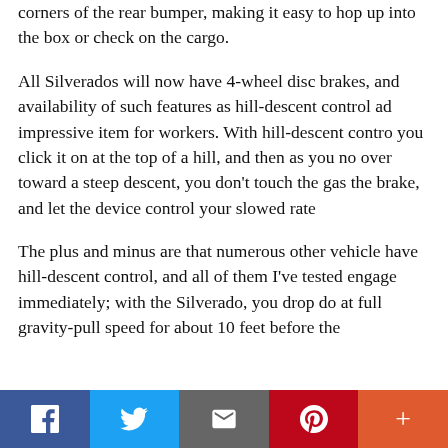corners of the rear bumper, making it easy to hop up into the box or check on the cargo.
All Silverados will now have 4-wheel disc brakes, and availability of such features as hill-descent control ad impressive item for workers. With hill-descent contro you click it on at the top of a hill, and then as you no over toward a steep descent, you don't touch the gas the brake, and let the device control your slowed rate
The plus and minus are that numerous other vehicle have hill-descent control, and all of them I've tested engage immediately; with the Silverado, you drop do at full gravity-pull speed for about 10 feet before the